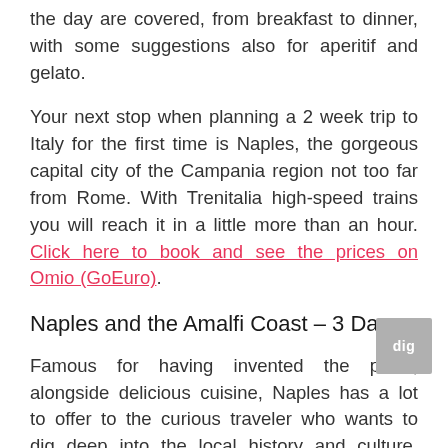the day are covered, from breakfast to dinner, with some suggestions also for aperitif and gelato.
Your next stop when planning a 2 week trip to Italy for the first time is Naples, the gorgeous capital city of the Campania region not too far from Rome. With Trenitalia high-speed trains you will reach it in a little more than an hour. Click here to book and see the prices on Omio (GoEuro).
Naples and the Amalfi Coast – 3 Days
Famous for having invented the pizza, alongside delicious cuisine, Naples has a lot to offer to the curious traveler who wants to dig deep into the local history and culture. Walk around its city center, enjoy the view of the